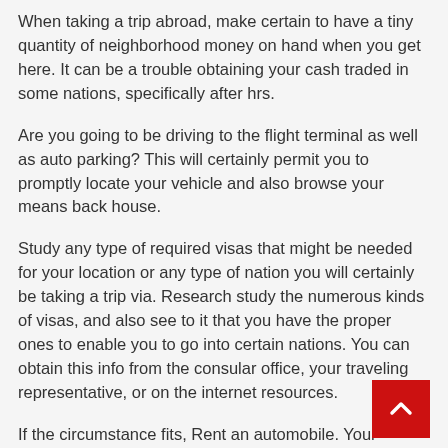When taking a trip abroad, make certain to have a tiny quantity of neighborhood money on hand when you get here. It can be a trouble obtaining your cash traded in some nations, specifically after hrs.
Are you going to be driving to the flight terminal as well as auto parking? This will certainly permit you to promptly locate your vehicle and also browse your means back house.
Study any type of required visas that might be needed for your location or any type of nation you will certainly be taking a trip via. Research study the numerous kinds of visas, and also see to it that you have the proper ones to enable you to go into certain nations. You can obtain this info from the consular office, your traveling representative, or on the internet resources.
If the circumstance fits, Rent an automobile. Your automobile can obtain over used as well as will certainly be cheapened, whereas renting out an auto will not trigger